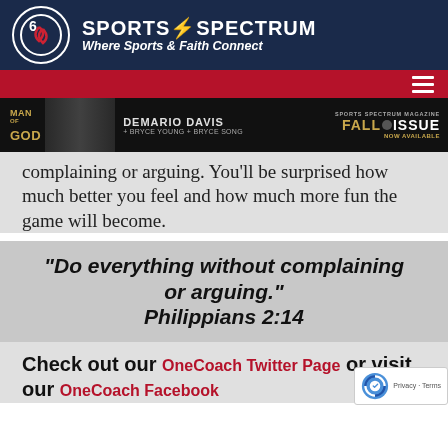SPORTS SPECTRUM - Where Sports & Faith Connect
[Figure (screenshot): Sports Spectrum website header with logo circle containing '6S' emblem, site name 'SPORTS SPECTRUM' and tagline 'Where Sports & Faith Connect' on dark navy background, red navigation bar with hamburger menu icon, and a promotional banner for 'Man of God' featuring DeMario Davis with 'Sports Spectrum Magazine Fall Issue Now Available']
complaining or arguing. You'll be surprised how much better you feel and how much more fun the game will become.
“Do everything without complaining or arguing.” Philippians 2:14
Check out our OneCoach Twitter Page or visit our OneCoach Facebook